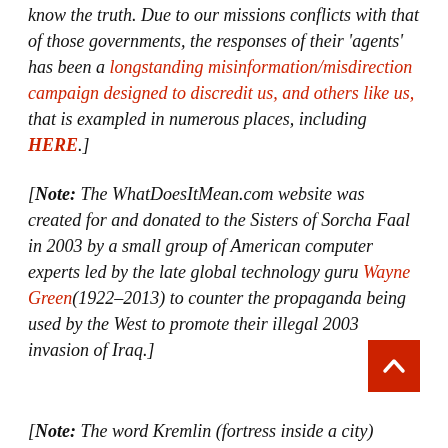know the truth. Due to our missions conflicts with that of those governments, the responses of their 'agents' has been a longstanding misinformation/misdirection campaign designed to discredit us, and others like us, that is exampled in numerous places, including HERE.]
[Note: The WhatDoesItMean.com website was created for and donated to the Sisters of Sorcha Faal in 2003 by a small group of American computer experts led by the late global technology guru Wayne Green(1922-2013) to counter the propaganda being used by the West to promote their illegal 2003 invasion of Iraq.]
[Note: The word Kremlin (fortress inside a city)